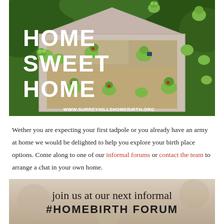[Figure (photo): Photo of a dollhouse filled with frog figurines doing various activities. Large bold white text overlaid reads HOME SWEET HOME. Website URL www.surreyhillshomebirth.org shown in bottom right.]
Wether you are expecting your first tadpole or you already have an army at home we would be delighted to help you explore your birth place options. Come along to one of our informal forums or contact the team to arrange a chat in your own home.
[Figure (photo): Promotional image with text: 'join us at our next informal #HOMEBIRTH FORUM' in stylized handwritten and bold uppercase fonts on a blurred background.]